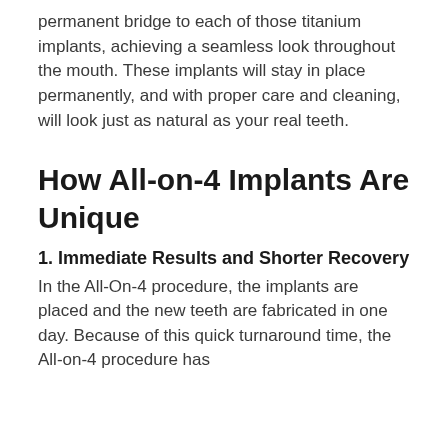permanent bridge to each of those titanium implants, achieving a seamless look throughout the mouth. These implants will stay in place permanently, and with proper care and cleaning, will look just as natural as your real teeth.
How All-on-4 Implants Are Unique
1. Immediate Results and Shorter Recovery
In the All-On-4 procedure, the implants are placed and the new teeth are fabricated in one day. Because of this quick turnaround time, the All-on-4 procedure has